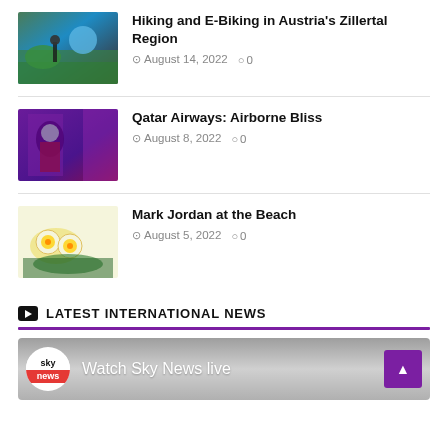[Figure (photo): Thumbnail of a person hiking/biking on a path near a mountain lake in Austria]
Hiking and E-Biking in Austria's Zillertal Region
August 14, 2022  0
[Figure (photo): Thumbnail of a Qatar Airways flight attendant in a purple-lit cabin interior]
Qatar Airways: Airborne Bliss
August 8, 2022  0
[Figure (photo): Thumbnail of scotch eggs on a plate with greens at Mark Jordan at the Beach restaurant]
Mark Jordan at the Beach
August 5, 2022  0
LATEST INTERNATIONAL NEWS
[Figure (screenshot): Sky News embedded video widget showing 'Watch Sky News live' with Sky News logo and purple up-arrow button]